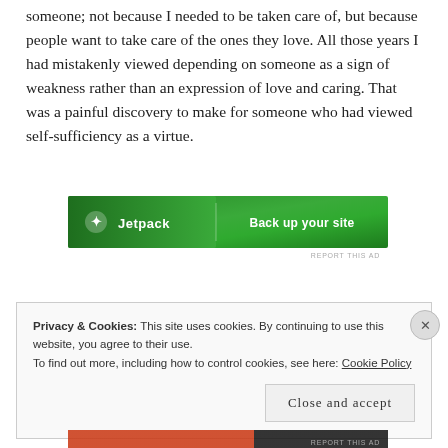someone; not because I needed to be taken care of, but because people want to take care of the ones they love. All those years I had mistakenly viewed depending on someone as a sign of weakness rather than an expression of love and caring. That was a painful discovery to make for someone who had viewed self-sufficiency as a virtue.
[Figure (other): Jetpack advertisement banner with green background showing Jetpack logo on the left and 'Back up your site' text on the right]
REPORT THIS AD
Privacy & Cookies: This site uses cookies. By continuing to use this website, you agree to their use.
To find out more, including how to control cookies, see here: Cookie Policy
Close and accept